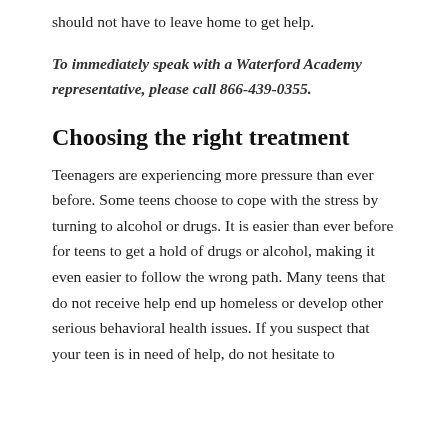should not have to leave home to get help.
To immediately speak with a Waterford Academy representative, please call 866-439-0355.
Choosing the right treatment
Teenagers are experiencing more pressure than ever before. Some teens choose to cope with the stress by turning to alcohol or drugs. It is easier than ever before for teens to get a hold of drugs or alcohol, making it even easier to follow the wrong path. Many teens that do not receive help end up homeless or develop other serious behavioral health issues. If you suspect that your teen is in need of help, do not hesitate to